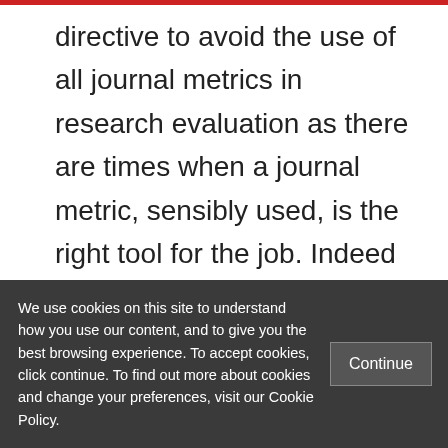directive to avoid the use of all journal metrics in research evaluation as there are times when a journal metric, sensibly used, is the right tool for the job. Indeed in a ARMA Metrics SIG discussion around the DORA survey, Katie Evans, Research Analytics Librarian at the University of Bath provided a great list of scenarios in which journal metrics may be a useful tool in your toolkit. I
We use cookies on this site to understand how you use our content, and to give you the best browsing experience. To accept cookies, click continue. To find out more about cookies and change your preferences, visit our Cookie Policy.